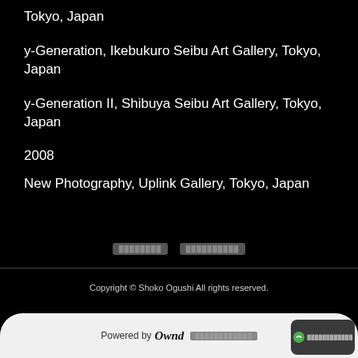Tokyo, Japan
y-Generation, Ikebukuro Seibu Art Gallery, Tokyo, Japan
y-Generation II, Shibuya Seibu Art Gallery, Tokyo, Japan
2008
New Photography, Uplink Gallery, Tokyo, Japan
Copyright © Shoko Ogushi All rights reserved.
Powered by Squarespace